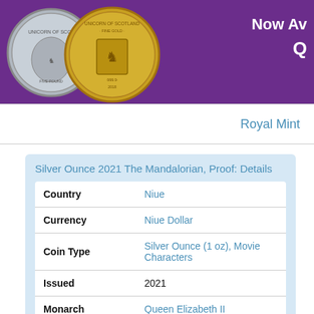[Figure (photo): Banner with purple background showing silver and gold coins (Queen's Beast / Unicorn of Scotland coins) and partial text 'Now Av...' and 'Q...' on the right side in white bold text.]
Royal Mint
Silver Ounce 2021 The Mandalorian, Proof: Details
| Field | Value |
| --- | --- |
| Country | Niue |
| Currency | Niue Dollar |
| Coin Type | Silver Ounce (1 oz), Movie Characters |
| Issued | 2021 |
| Monarch | Queen Elizabeth II |
| Effigy | Queen Elizabeth II - Fourth Portrait, |